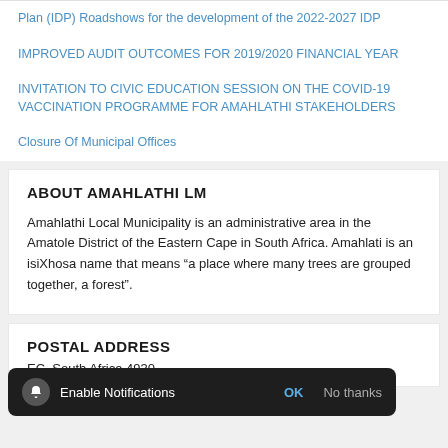Plan (IDP) Roadshows for the development of the 2022-2027 IDP
IMPROVED AUDIT OUTCOMES FOR 2019/2020 FINANCIAL YEAR
INVITATION TO CIVIC EDUCATION SESSION ON THE COVID-19 VACCINATION PROGRAMME FOR AMAHLATHI STAKEHOLDERS
Closure Of Municipal Offices
ABOUT AMAHLATHI LM
Amahlathi Local Municipality is an administrative area in the Amatole District of the Eastern Cape in South Africa. Amahlati is an isiXhosa name that means “a place where many trees are grouped together, a forest”.
POSTAL ADDRESS
EC, South Africa 4930